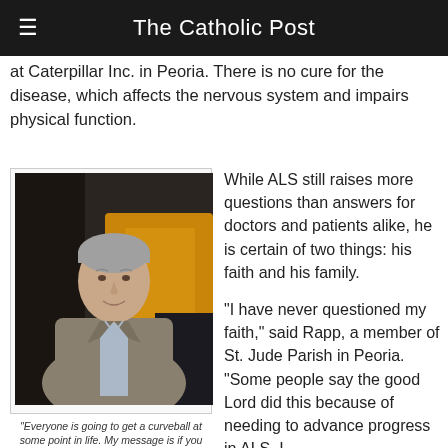The Catholic Post
at Caterpillar Inc. in Peoria. There is no cure for the disease, which affects the nervous system and impairs physical function.
[Figure (photo): Man in gray blazer and light blue shirt standing in front of yellow construction equipment, smiling. Professional portrait photo.]
"Everyone is going to get a curveball at some point in life. My message is if you can have great balance in your life, you can hit that curveball." - Rapp
While ALS still raises more questions than answers for doctors and patients alike, he is certain of two things: his faith and his family.

"I have never questioned my faith," said Rapp, a member of St. Jude Parish in Peoria. "Some people say the good Lord did this because of needing to advance progress in ALS. I